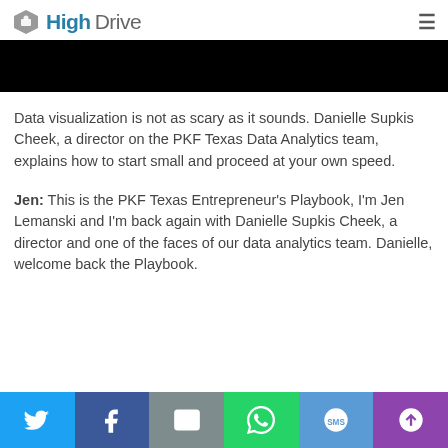HighDrive
[Figure (photo): Black banner/video placeholder bar]
Data visualization is not as scary as it sounds. Danielle Supkis Cheek, a director on the PKF Texas Data Analytics team, explains how to start small and proceed at your own speed.
Jen: This is the PKF Texas Entrepreneur's Playbook, I'm Jen Lemanski and I'm back again with Danielle Supkis Cheek, a director and one of the faces of our data analytics team. Danielle, welcome back the Playbook.
[Figure (infographic): Social sharing bar with Twitter, Facebook, Email, WhatsApp, SMS, and More buttons]